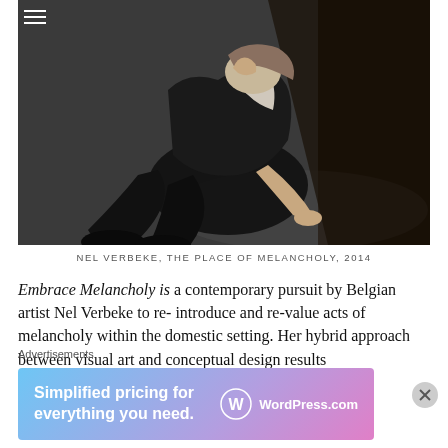[Figure (photo): A woman dressed in black clothing and boots sits on a dark floor, leaning against a dark wall with her head resting on one hand, photographed from above. The image is moody and dark in tone.]
NEL VERBEKE, THE PLACE OF MELANCHOLY, 2014
Embrace Melancholy is a contemporary pursuit by Belgian artist Nel Verbeke to re- introduce and re-value acts of melancholy within the domestic setting. Her hybrid approach between visual art and conceptual design results
Advertisements
[Figure (screenshot): WordPress.com advertisement banner: 'Simplified pricing for everything you need.' with WordPress.com logo on a gradient blue-purple-pink background.]